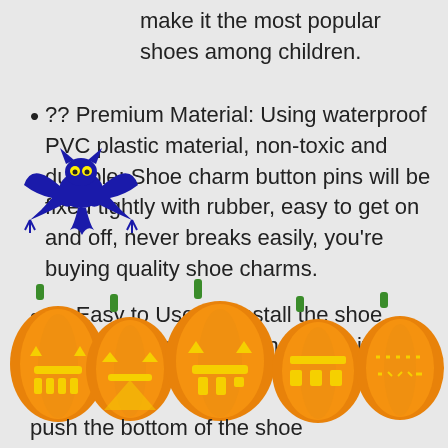make it the most popular shoes among children.
?? Premium Material: Using waterproof PVC plastic material, non-toxic and durable; Shoe charm button pins will be fixed tightly with rubber, easy to get on and off, never breaks easily, you're buying quality shoe charms.
[Figure (illustration): Blue cartoon bat with yellow eyes]
?? Easy to Use: To install the shoe charm, please hold it and insert it from 45 degree angle
[Figure (illustration): Row of orange Halloween jack-o-lantern pumpkins at bottom of page]
push the bottom of the shoe